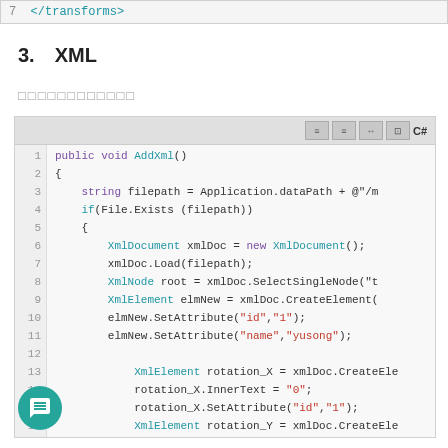[Figure (screenshot): Top code snippet showing line 7: </transforms> in a code editor style block with blue/teal syntax color]
3.  XML
□□□□□□□□□□□□
[Figure (screenshot): Code editor block showing C# code for AddXml() method lines 1-21, with syntax highlighting in blue, purple, and red]